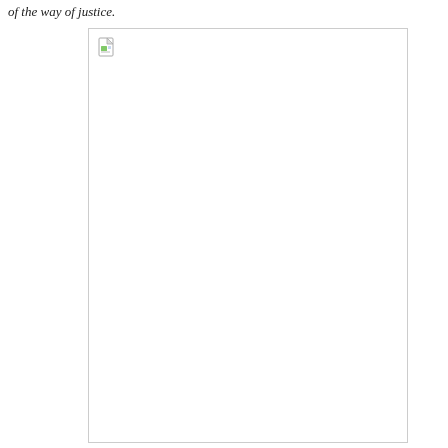of the way of justice.
[Figure (illustration): A mostly blank image placeholder with a broken image icon in the top-left corner, surrounded by a light gray border.]